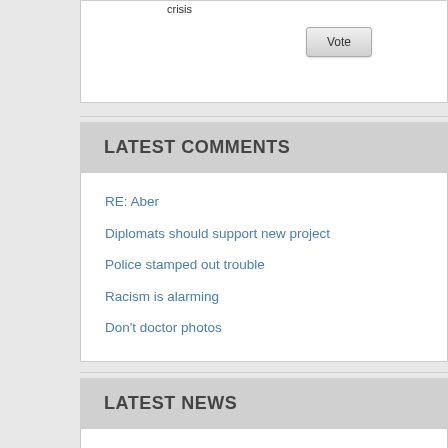crisis
Vote
LATEST COMMENTS
RE: Aber
Diplomats should support new project
Police stamped out trouble
Racism is alarming
Don't doctor photos
LATEST NEWS
Talks continue in bid to end bin strikes
Big Bash League draft: Liam Livingstone first
In fantasy, medieval life is depicted as all
US Open: Serena Williams' last hurrah at